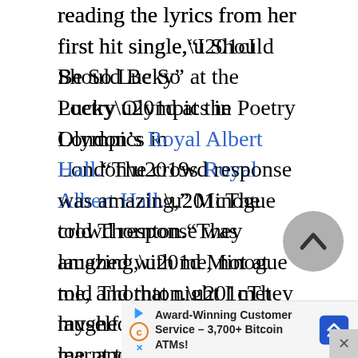reading the lyrics from her first hit single,“I Should Be So Lucky” at the Poetry Olympics in London’s Royal Albert Hall.“The crowd response was amazing,” Minogue told Thornton.“They laughed with me, not at me, and that night I met myself face to face and learnt to accept who I am. It was a real relief. I came to embrace and be proud of the past and the history that I’d been trying so hard to run away from, and stopped trying to be
Award-Winning Customer Service - 3,700+ Bitcoin ATMs!